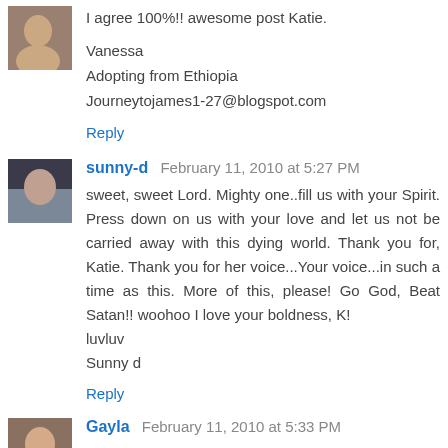[Figure (photo): Small avatar photo of first commenter]
I agree 100%!! awesome post Katie.
Vanessa
Adopting from Ethiopia
Journeytojames1-27@blogspot.com
Reply
[Figure (photo): Small avatar photo of sunny-d]
sunny-d  February 11, 2010 at 5:27 PM
sweet, sweet Lord. Mighty one..fill us with your Spirit. Press down on us with your love and let us not be carried away with this dying world. Thank you for, Katie. Thank you for her voice...Your voice...in such a time as this. More of this, please! Go God, Beat Satan!! woohoo I love your boldness, K!
luvluv
Sunny d
Reply
[Figure (photo): Small avatar photo of Gayla]
Gayla  February 11, 2010 at 5:33 PM